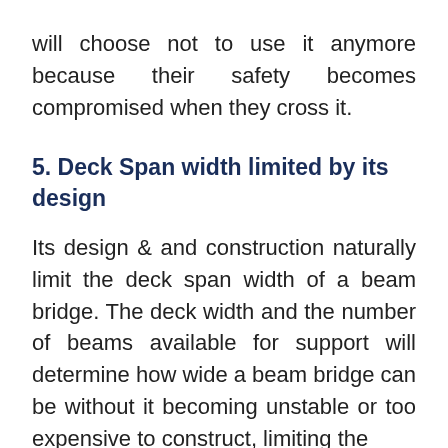will choose not to use it anymore because their safety becomes compromised when they cross it.
5. Deck Span width limited by its design
Its design & and construction naturally limit the deck span width of a beam bridge. The deck width and the number of beams available for support will determine how wide a beam bridge can be without it becoming unstable or too expensive to construct, limiting the